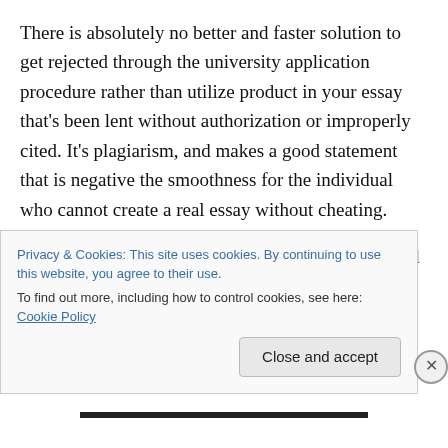There is absolutely no better and faster solution to get rejected through the university application procedure rather than utilize product in your essay that's been lent without authorization or improperly cited. It's plagiarism, and makes a good statement that is negative the smoothness for the individual who cannot create a real essay without cheating.
Some universities spend search organizations to find plagiarism. Distinguished plagiarism avoidance services utilized by scholastic institutions consist of TurnItInBot and
Privacy & Cookies: This site uses cookies. By continuing to use this website, you agree to their use.
To find out more, including how to control cookies, see here: Cookie Policy
Close and accept